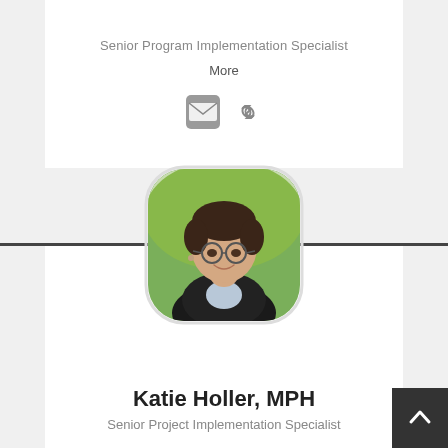Senior Program Implementation Specialist
More
[Figure (illustration): Email icon and hyperlink icon buttons]
[Figure (photo): Profile photo of Katie Holler, MPH — a young woman with curly dark hair, glasses, wearing a black blazer, photographed outdoors with green background, displayed in rounded square frame]
Katie Holler, MPH
Senior Project Implementation Specialist